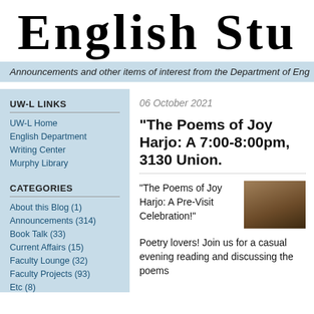English Stu
Announcements and other items of interest from the Department of Eng
UW-L LINKS
UW-L Home
English Department
Writing Center
Murphy Library
CATEGORIES
About this Blog (1)
Announcements (314)
Book Talk (33)
Current Affairs (15)
Faculty Lounge (32)
Faculty Projects (93)
Etc (8)
06 October 2021
"The Poems of Joy Harjo: A 7:00-8:00pm, 3130 Union.
"The Poems of Joy Harjo: A Pre-Visit Celebration!"
[Figure (photo): Partial photo of a curved brown/dark background, possibly a book or hat]
Poetry lovers! Join us for a casual evening reading and discussing the poems